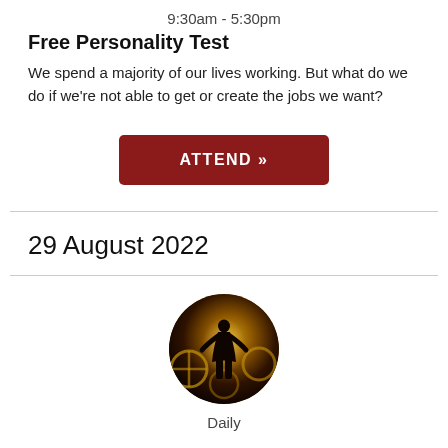9:30am - 5:30pm
Free Personality Test
We spend a majority of our lives working. But what do we do if we're not able to get or create the jobs we want?
[Figure (other): Dark red button with text ATTEND »]
29 August 2022
[Figure (photo): Circular photo showing a silhouette of a person standing in front of glowing golden gear/cog machinery background]
Daily